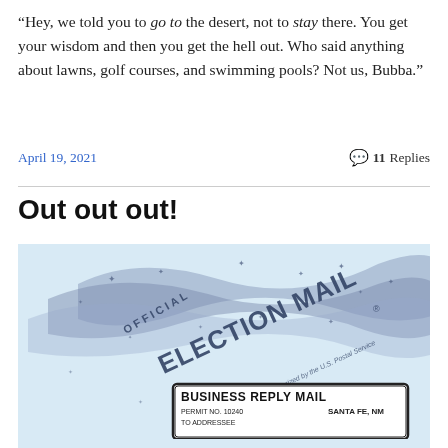“Hey, we told you to go to the desert, not to stay there. You get your wisdom and then you get the hell out. Who said anything about lawns, golf courses, and swimming pools? Not us, Bubba.”
April 19, 2021
💬 11 Replies
Out out out!
[Figure (photo): Official Election Mail envelope with U.S. Postal Service authorization mark and Business Reply Mail label, Santa Fe, NM]